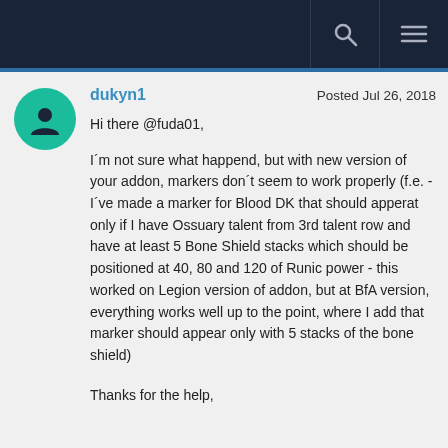dukyn1   Posted Jul 26, 2018
Hi there @fuda01,

I´m not sure what happend, but with new version of your addon, markers don´t seem to work properly (f.e. - I´ve made a marker for Blood DK that should apperat only if I have Ossuary talent from 3rd talent row and have at least 5 Bone Shield stacks which should be positioned at 40, 80 and 120 of Runic power - this worked on Legion version of addon, but at BfA version, everything works well up to the point, where I add that marker should appear only with 5 stacks of the bone shield)


Thanks for the help,